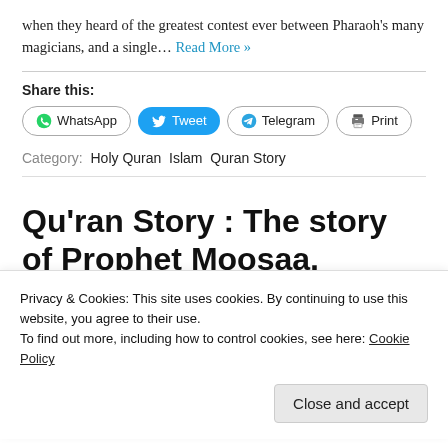when they heard of the greatest contest ever between Pharaoh's many magicians, and a single… Read More »
Share this:
WhatsApp  Tweet  Telegram  Print
Category:  Holy Quran  Islam  Quran Story
Qu'ran Story : The story of Prophet Moosaa, Episode -III
Privacy & Cookies: This site uses cookies. By continuing to use this website, you agree to their use.
To find out more, including how to control cookies, see here: Cookie Policy
Close and accept